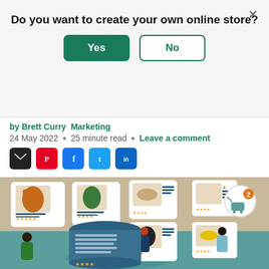Do you want to create your own online store?
Yes / No (modal dialog buttons)
by Brett Curry · Marketing
24 May 2022 · 25 minute read · Leave a comment
[Figure (screenshot): Social sharing icons: email, Pinterest, Facebook, Twitter, LinkedIn]
[Figure (illustration): Illustration of an online shoe store with people browsing shoes and product listings on walls, shopping cart icon with notification badge showing 2 items]